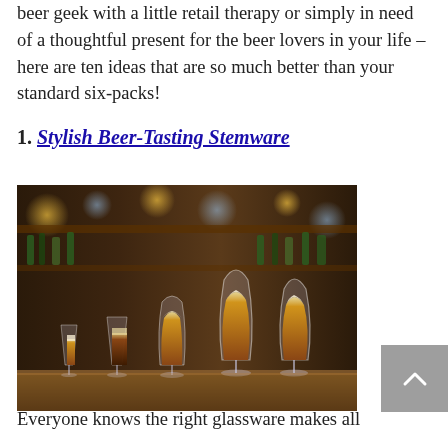beer geek with a little retail therapy or simply in need of a thoughtful present for the beer lovers in your life – here are ten ideas that are so much better than your standard six-packs!
1. Stylish Beer-Tasting Stemware
[Figure (photo): Five beer-tasting stemware glasses of varying sizes filled with amber-colored beer, arranged on a bar counter with a blurred bar background of bottles and lights.]
Everyone knows the right glassware makes all the difference — and the same is true of a...